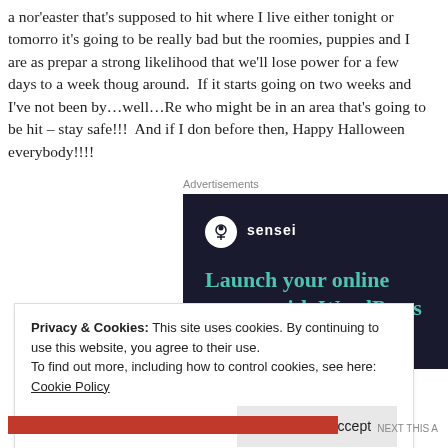a nor'easter that's supposed to hit where I live either tonight or tomorrow. it's going to be really bad but the roomies, puppies and I are as prepared. a strong likelihood that we'll lose power for a few days to a week though around.  If it starts going on two weeks and I've not been by…well…Re who might be in an area that's going to be hit – stay safe!!!  And if I don before then, Happy Halloween everybody!!!!
Advertisements
[Figure (illustration): Sensei advertisement with dark navy background. Shows Sensei logo (tree icon in white circle) with brand name, and headline 'Launch your online course with WordPress' in teal color.]
Privacy & Cookies: This site uses cookies. By continuing to use this website, you agree to their use.
To find out more, including how to control cookies, see here: Cookie Policy
Close and accept